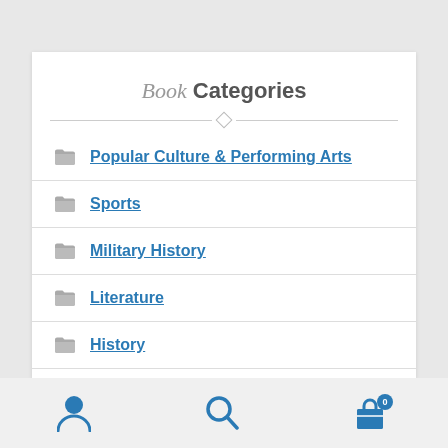Book Categories
Popular Culture & Performing Arts
Sports
Military History
Literature
History
Body & Mind
Navigation bar: user, search, cart (0)